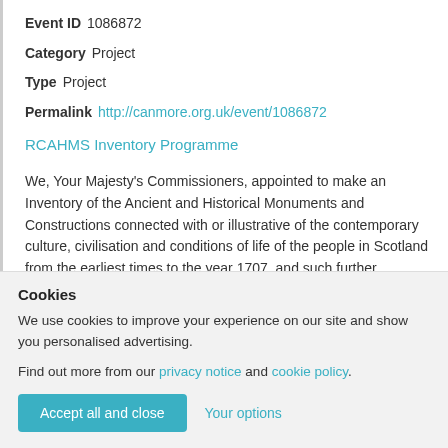Event ID 1086872
Category Project
Type Project
Permalink http://canmore.org.uk/event/1086872
RCAHMS Inventory Programme
We, Your Majesty's Commissioners, appointed to make an Inventory of the Ancient and Historical Monuments and Constructions connected with or illustrative of the contemporary culture, civilisation and conditions of life of the people in Scotland from the earliest times to the year 1707, and such further
Cookies
We use cookies to improve your experience on our site and show you personalised advertising.
Find out more from our privacy notice and cookie policy.
Accept all and close
Your options